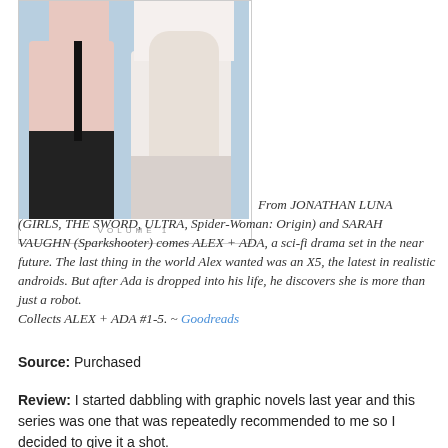[Figure (illustration): Book cover for ALEX + ADA Volume 1 showing two figures side by side against a light blue background, with 'VOLUME 1' text at the bottom of the cover]
From JONATHAN LUNA (GIRLS, THE SWORD, ULTRA, Spider-Woman: Origin) and SARAH VAUGHN (Sparkshooter) comes ALEX + ADA, a sci-fi drama set in the near future. The last thing in the world Alex wanted was an X5, the latest in realistic androids. But after Ada is dropped into his life, he discovers she is more than just a robot.
Collects ALEX + ADA #1-5. ~ Goodreads
Source: Purchased
Review: I started dabbling with graphic novels last year and this series was one that was repeatedly recommended to me so I decided to give it a shot.